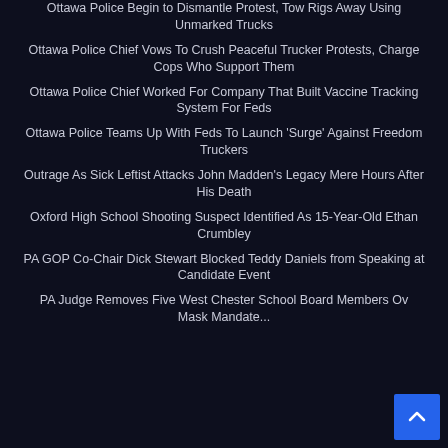Ottawa Police Begin to Dismantle Protest, Tow Rigs Away Using Unmarked Trucks
Ottawa Police Chief Vows To Crush Peaceful Trucker Protests, Charge Cops Who Support Them
Ottawa Police Chief Worked For Company That Built Vaccine Tracking System For Feds
Ottawa Police Teams Up With Feds To Launch 'Surge' Against Freedom Truckers
Outrage As Sick Leftist Attacks John Madden's Legacy Mere Hours After His Death
Oxford High School Shooting Suspect Identified As 15-Year-Old Ethan Crumbley
PA GOP Co-Chair Dick Stewart Blocked Teddy Daniels from Speaking at Candidate Event
PA Judge Removes Five West Chester School Board Members Ov... Mask Mandate...